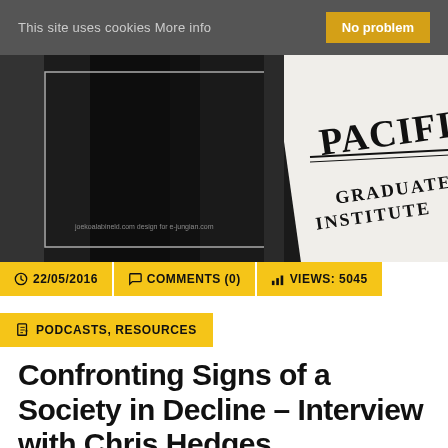This site uses cookies More info   No problem
[Figure (photo): Black and white photograph showing a Pacifica Graduate Institute sign/document, partially visible, set against a dark curtain or fabric background. Small text at bottom reads: joekoalabineld.com design for e-jungian.com]
22/05/2016   COMMENTS (0)   VIEWS: 5045
PODCASTS, RESOURCES
Confronting Signs of a Society in Decline – Interview with Chris Hedges